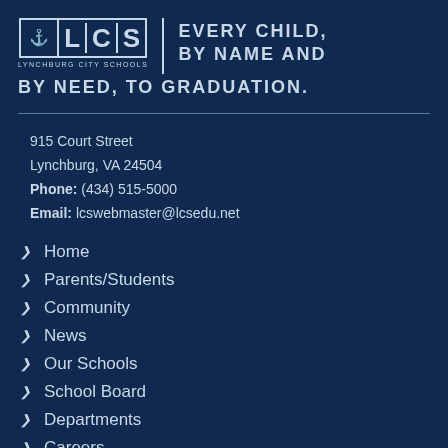[Figure (logo): Lynchburg City Schools logo with LCS letters and school crest icon]
EVERY CHILD, BY NAME AND BY NEED, TO GRADUATION.
915 Court Street
Lynchburg, VA 24504
Phone: (434) 515-5000
Email: lcswebmaster@lcsedu.net
Home
Parents/Students
Community
News
Our Schools
School Board
Departments
Careers